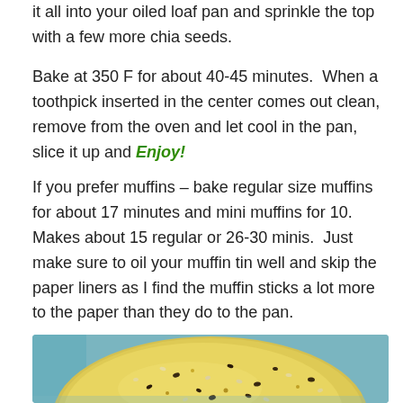it all into your oiled loaf pan and sprinkle the top with a few more chia seeds.
Bake at 350 F for about 40-45 minutes.  When a toothpick inserted in the center comes out clean, remove from the oven and let cool in the pan, slice it up and Enjoy!
If you prefer muffins – bake regular size muffins for about 17 minutes and mini muffins for 10.  Makes about 15 regular or 26-30 minis.  Just make sure to oil your muffin tin well and skip the paper liners as I find the muffin sticks a lot more to the paper than they do to the pan.
[Figure (photo): Close-up photo of a baked muffin or loaf top with chia seeds visible on the golden-yellow surface, with a blue/teal background]